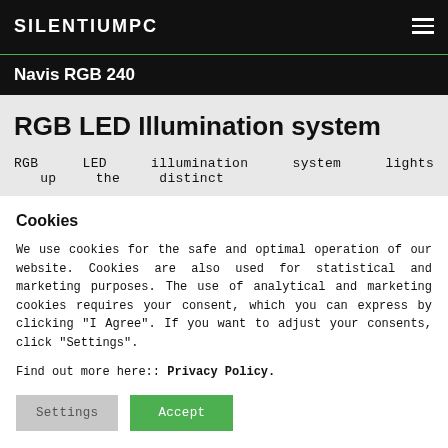SILENTIUMPC
Navis RGB 240
RGB LED Illumination system
RGB LED illumination system lights up the distinct
Cookies
We use cookies for the safe and optimal operation of our website. Cookies are also used for statistical and marketing purposes. The use of analytical and marketing cookies requires your consent, which you can express by clicking "I Agree". If you want to adjust your consents, click "Settings".
Find out more here:: Privacy Policy.
Settings | Accept